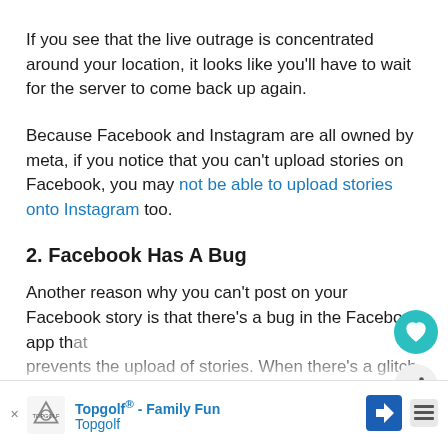If you see that the live outrage is concentrated around your location, it looks like you'll have to wait for the server to come back up again.
Because Facebook and Instagram are all owned by meta, if you notice that you can't upload stories on Facebook, you may not be able to upload stories onto Instagram too.
2. Facebook Has A Bug
Another reason why you can't post on your Facebook story is that there's a bug in the Facebook app that prevents the upload of stories. When there's a glitch with...errors with
[Figure (other): Advertisement banner for Topgolf - Family Fun with Topgolf logo and navigation icon]